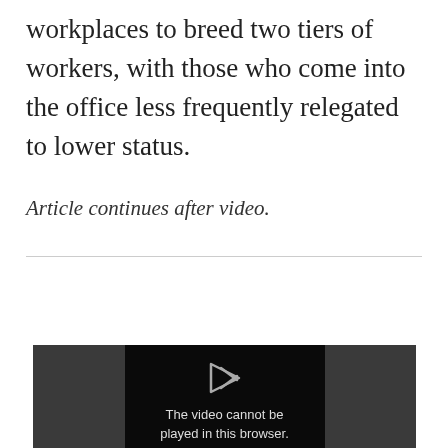workplaces to breed two tiers of workers, with those who come into the office less frequently relegated to lower status.
Article continues after video.
FEATURED VIDEO
An Inc.com Featured Presentation
[Figure (screenshot): Video player showing error message: The video cannot be played in this browser.]